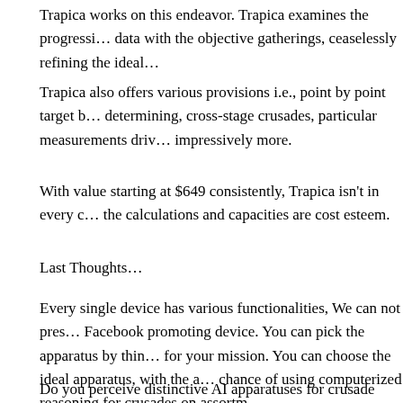Trapica works on this endeavor. Trapica examines the progressi… data with the objective gatherings, ceaselessly refining the ideal…
Trapica also offers various provisions i.e., point by point target b… determining, cross-stage crusades, particular measurements driv… impressively more.
With value starting at $649 consistently, Trapica isn't in every c… the calculations and capacities are cost esteem.
Last Thoughts…
Every single device has various functionalities, We can not pres… Facebook promoting device. You can pick the apparatus by thin… for your mission. You can choose the ideal apparatus, with the a… chance of using computerized reasoning for crusades on assortm…
Do you perceive distinctive AI apparatuses for crusade advance… compose inside the remarks.